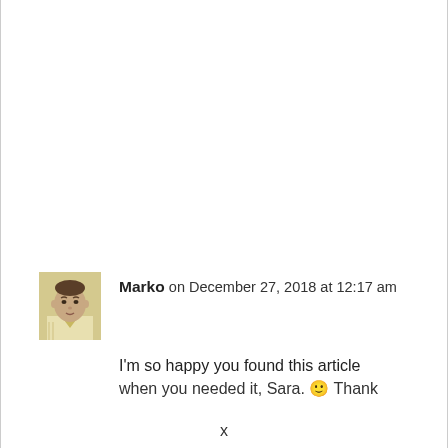Marko on December 27, 2018 at 12:17 am
I'm so happy you found this article when you needed it, Sara. 🙂 Thank